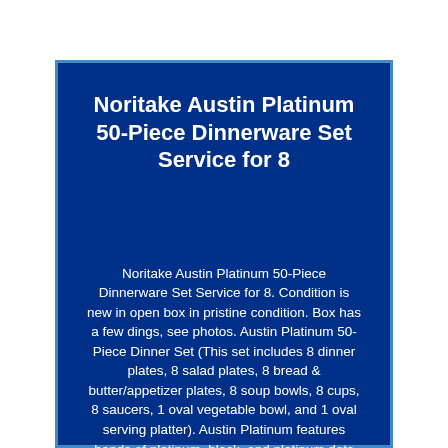Noritake Austin Platinum 50-Piece Dinnerware Set Service for 8
Noritake Austin Platinum 50-Piece Dinnerware Set Service for 8. Condition is new in open box in pristine condition. Box has a few dings, see photos. Austin Platinum 50-Piece Dinner Set (This set includes 8 dinner plates, 8 salad plates, 8 bread & butter/appetizer plates, 8 soup bowls, 8 cups, 8 saucers, 1 oval vegetable bowl, and 1 oval serving platter). Austin Platinum features bands of platinum, black, and platinum dots